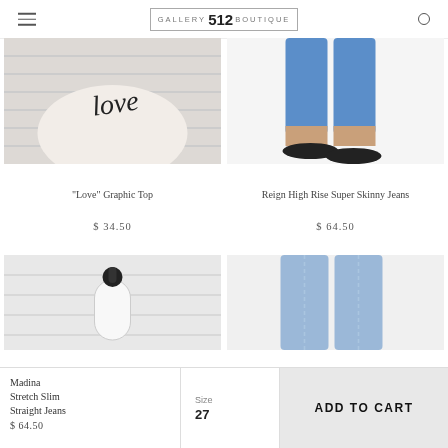GALLERY 512 BOUTIQUE
[Figure (photo): Beige knotted graphic top with cursive 'love' text on white brick background]
"Love" Graphic Top
$ 34.50
[Figure (photo): Person wearing blue skinny jeans with black slide sandals on white background]
Reign High Rise Super Skinny Jeans
$ 64.50
[Figure (photo): Black and white lint roller on white brick background]
[Figure (photo): Person wearing light wash blue straight leg jeans]
Madina Stretch Slim Straight Jeans
$ 64.50
Size
27
ADD TO CART